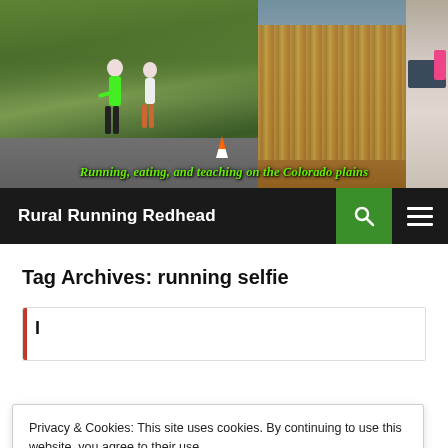[Figure (photo): Blog header banner with three panels: left panel shows runners on a road race in a park, center panel shows a cornfield, right panel shows a laptop with pink figure. Green italic text overlay reads 'Running, eating, and teaching on the Colorado plains']
Rural Running Redhead
Tag Archives: running selfie
Privacy & Cookies: This site uses cookies. By continuing to use this website, you agree to their use.
To find out more, including how to control cookies, see here: Cookie Policy
Close and accept
MARCH 15, 2015   10 COMMENTS